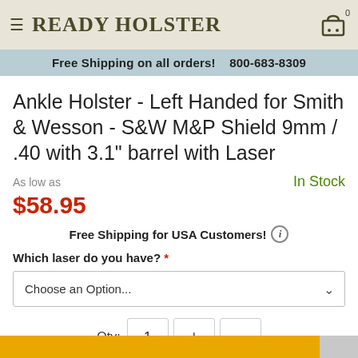≡  READY HOLSTER
Free Shipping on all orders!    800-683-8309
Ankle Holster - Left Handed for Smith & Wesson - S&W M&P Shield 9mm / .40 with 3.1" barrel with Laser
As low as
In Stock
$58.95
Free Shipping for USA Customers! ⓘ
Which laser do you have? *
Choose an Option...
Qty: 1